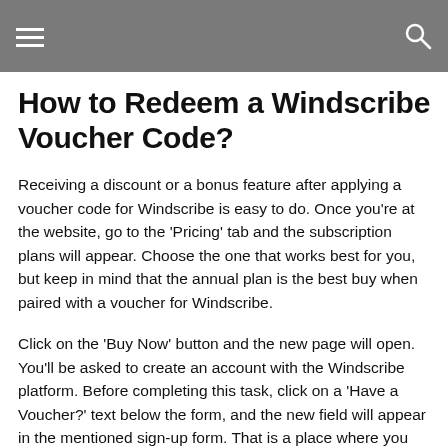How to Redeem a Windscribe Voucher Code?
Receiving a discount or a bonus feature after applying a voucher code for Windscribe is easy to do. Once you’re at the website, go to the ‘Pricing’ tab and the subscription plans will appear. Choose the one that works best for you, but keep in mind that the annual plan is the best buy when paired with a voucher for Windscribe.
Click on the ‘Buy Now’ button and the new page will open. You’ll be asked to create an account with the Windscribe platform. Before completing this task, click on a ‘Have a Voucher?’ text below the form, and the new field will appear in the mentioned sign-up form. That is a place where you can paste and